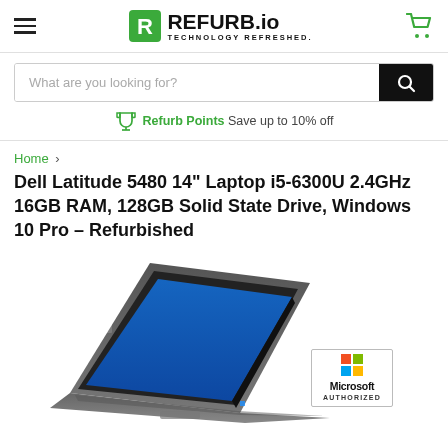REFURB.io TECHNOLOGY REFRESHED.
What are you looking for?
Refurb Points Save up to 10% off
Home >
Dell Latitude 5480 14" Laptop i5-6300U 2.4GHz 16GB RAM, 128GB Solid State Drive, Windows 10 Pro - Refurbished
[Figure (photo): Dell Latitude 5480 laptop shown at an angle with Windows 10 screen visible, alongside a Microsoft Authorized badge]